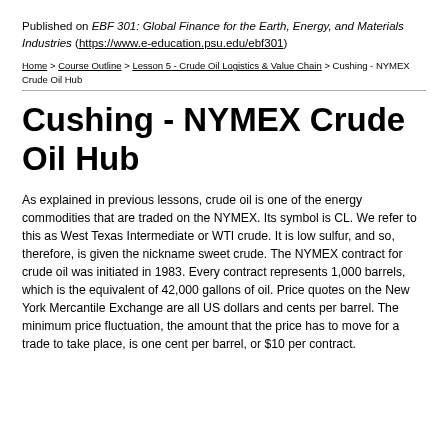Published on EBF 301: Global Finance for the Earth, Energy, and Materials Industries (https://www.e-education.psu.edu/ebf301)
Home > Course Outline > Lesson 5 - Crude Oil Logistics & Value Chain > Cushing - NYMEX Crude Oil Hub
Cushing - NYMEX Crude Oil Hub
As explained in previous lessons, crude oil is one of the energy commodities that are traded on the NYMEX. Its symbol is CL. We refer to this as West Texas Intermediate or WTI crude. It is low sulfur, and so, therefore, is given the nickname sweet crude. The NYMEX contract for crude oil was initiated in 1983. Every contract represents 1,000 barrels, which is the equivalent of 42,000 gallons of oil. Price quotes on the New York Mercantile Exchange are all US dollars and cents per barrel. The minimum price fluctuation, the amount that the price has to move for a trade to take place, is one cent per barrel, or $10 per contract.